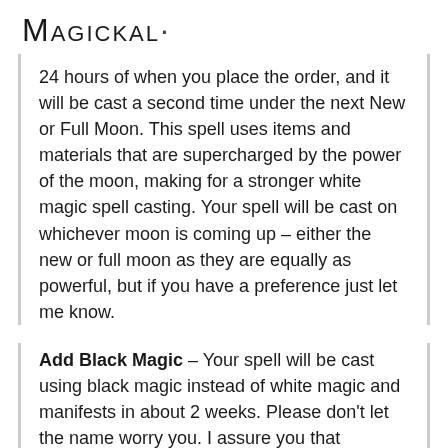Magickal·
24 hours of when you place the order, and it will be cast a second time under the next New or Full Moon. This spell uses items and materials that are supercharged by the power of the moon, making for a stronger white magic spell casting. Your spell will be cast on whichever moon is coming up – either the new or full moon as they are equally as powerful, but if you have a preference just let me know.
Add Black Magic – Your spell will be cast using black magic instead of white magic and manifests in about 2 weeks. Please don't let the name worry you. I assure you that although black magic CAN be used for purposes such as revenge, or ruining someone's life, this casting is NOT used in that